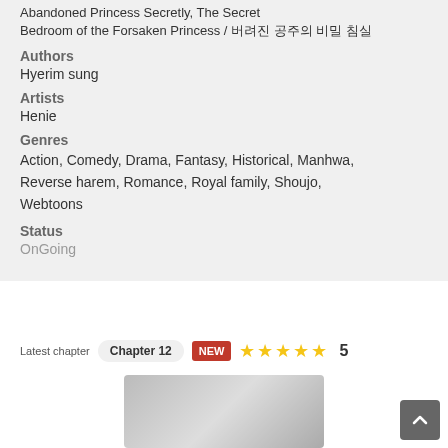Abandoned Princess Secretly, The Secret Bedroom of the Forsaken Princess / 버려진 공주의 비밀 침실
Authors
Hyerim sung
Artists
Henie
Genres
Action, Comedy, Drama, Fantasy, Historical, Manhwa, Reverse harem, Romance, Royal family, Shoujo, Webtoons
Status
OnGoing
Latest chapter  Chapter 12  NEW  ★★★★★ 5
[Figure (photo): Partial view of manga/webtoon cover image at bottom of page]